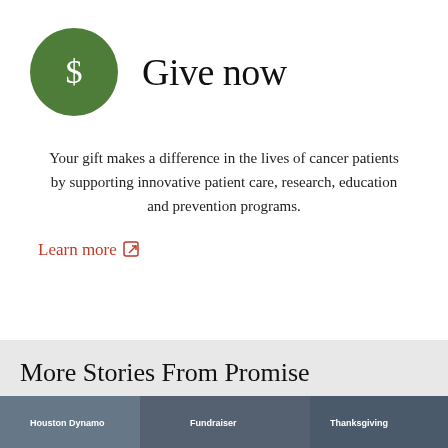[Figure (illustration): Green circle with white dollar sign icon]
Give now
Your gift makes a difference in the lives of cancer patients by supporting innovative patient care, research, education and prevention programs.
Learn more ↗
More Stories From Promise
[Figure (photo): Partial image strip at bottom showing what appears to be sports/event imagery with text overlays including 'Houston Dynamo', 'Fundraiser', 'Thanksgiving']